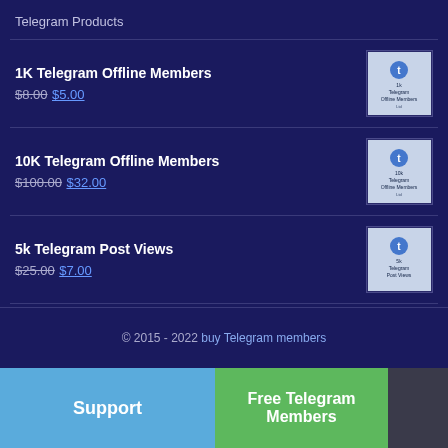Telegram Products
1K Telegram Offline Members — $8.00 $5.00
10K Telegram Offline Members — $100.00 $32.00
5k Telegram Post Views — $25.00 $7.00
500 Telegram Online Members — $25.00 $15.00
500 Telegram Offline Members — $5.00 $3.00
© 2015 - 2022 buy Telegram members
Support
Free Telegram Members